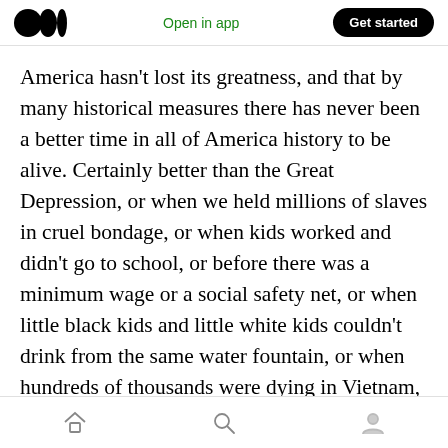Open in app | Get started
America hasn't lost its greatness, and that by many historical measures there has never been a better time in all of America history to be alive. Certainly better than the Great Depression, or when we held millions of slaves in cruel bondage, or when kids worked and didn't go to school, or before there was a minimum wage or a social safety net, or when little black kids and little white kids couldn't drink from the same water fountain, or when hundreds of thousands were dying in Vietnam, or a Cold War could lead to nuclear annihilation at any moment? Or when
home search profile